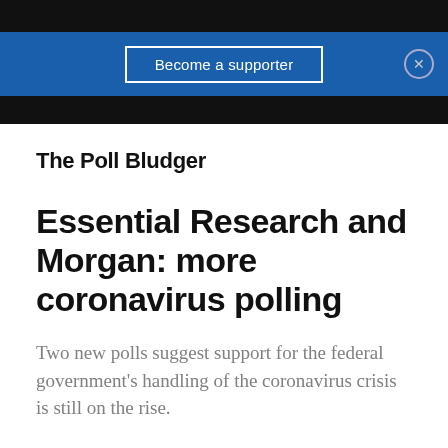Become a supporter
The Poll Bludger
Essential Research and Morgan: more coronavirus polling
Two new polls suggest support for the federal government's handling of the coronavirus crisis is still on the rise.